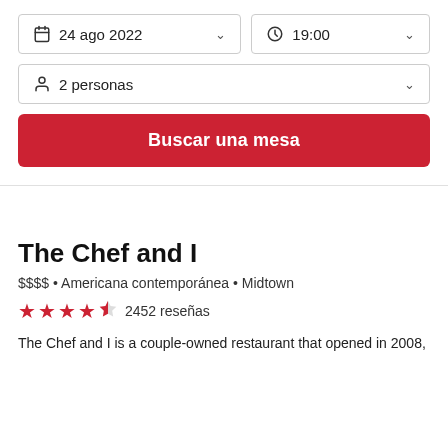24 ago 2022 (dropdown) | 19:00 (dropdown)
2 personas (dropdown)
Buscar una mesa
The Chef and I
$$$$ • Americana contemporánea • Midtown
★★★★½ 2452 reseñas
The Chef and I is a couple-owned restaurant that opened in 2008,